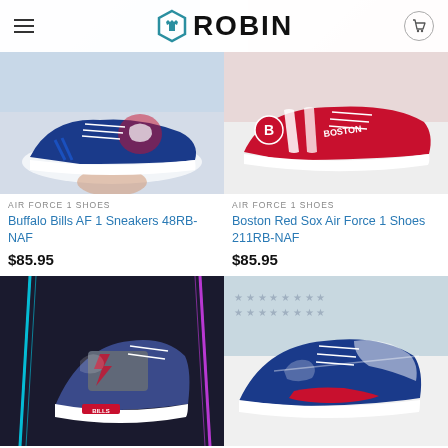ROBIN — navigation header with logo
[Figure (photo): Buffalo Bills AF 1 Sneakers — blue sneaker with Bills logo held in hand]
AIR FORCE 1 SHOES
Buffalo Bills AF 1 Sneakers 48RB-NAF
$85.95
[Figure (photo): Boston Red Sox Air Force 1 Shoes — red and white sneaker with Red Sox branding]
AIR FORCE 1 SHOES
Boston Red Sox Air Force 1 Shoes 211RB-NAF
$85.95
[Figure (photo): Buffalo Bills themed sneaker with neon background in blue and pink]
[Figure (photo): Buffalo Bills themed sneaker close-up with blue and gray design]